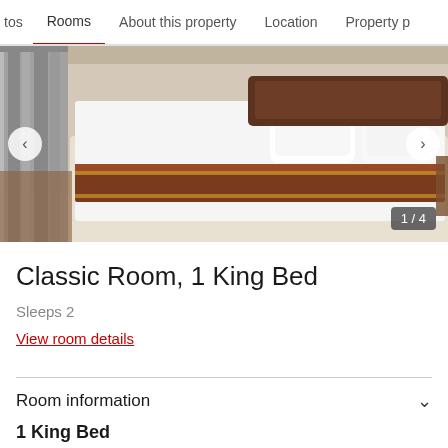tos  Rooms  About this property  Location  Property p
[Figure (photo): Hotel room photo showing a neatly made bed with white linens and a brown/gold decorative runner, white pillows, grey curtains on the left, and wooden furniture. Image counter shows 1/4.]
Classic Room, 1 King Bed
Sleeps 2
View room details
Room information
1 King Bed
646 sq feet
Enter your travel dates to get the price